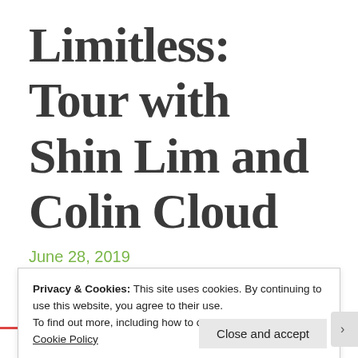Limitless: Tour with Shin Lim and Colin Cloud
June 28, 2019
Privacy & Cookies: This site uses cookies. By continuing to use this website, you agree to their use.
To find out more, including how to control cookies, see here: Cookie Policy
Close and accept